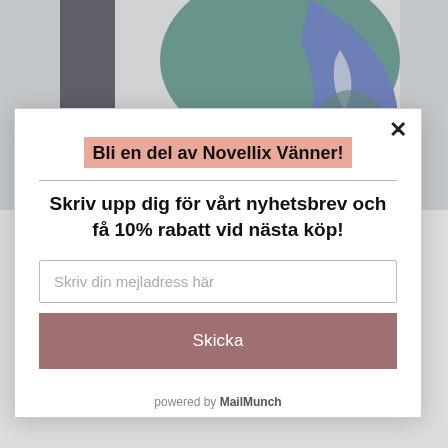[Figure (illustration): Abstract artwork showing dark, blue and teal brush strokes or shapes against a light background, partially visible behind modal overlay]
Bli en del av Novellix Vänner!
Skriv upp dig för vårt nyhetsbrev och få 10% rabatt vid nästa köp!
Skriv din mejladress här
Skicka
powered by MailMunch